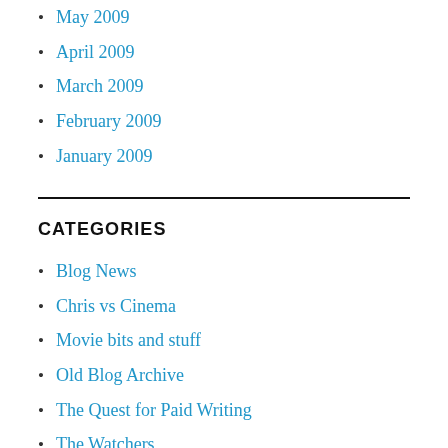May 2009
April 2009
March 2009
February 2009
January 2009
CATEGORIES
Blog News
Chris vs Cinema
Movie bits and stuff
Old Blog Archive
The Quest for Paid Writing
The Watchers
Uncategorized